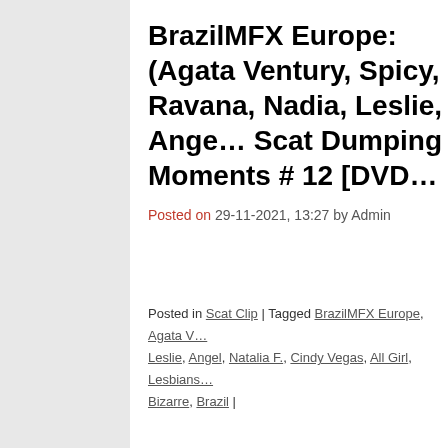BrazilMFX Europe: (Agata Ventury, Spicy, Ravana, Nadia, Leslie, Angel) - Scat Dumping Moments # 12 [DVD
Posted on 29-11-2021, 13:27 by Admin
Posted in Scat Clip | Tagged BrazilMFX Europe, Agata V, Leslie, Angel, Natalia F., Cindy Vegas, All Girl, Lesbians, Bizarre, Brazil |
MFX Europe: (Agata Ventury, Mich, Ravana) - [MFX-S011] - The Best o
Posted on 31-01-2019, 11:56 by Admin